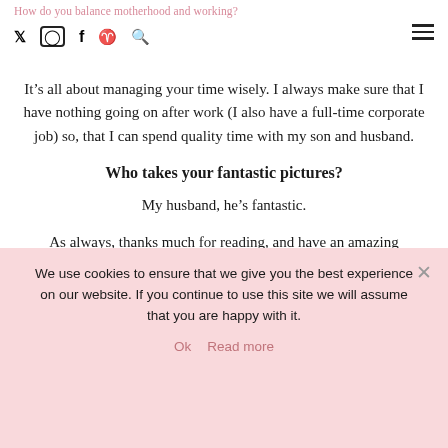How do you balance motherhood and working?
It’s all about managing your time wisely. I always make sure that I have nothing going on after work (I also have a full-time corporate job) so, that I can spend quality time with my son and husband.
Who takes your fantastic pictures?
My husband, he’s fantastic.
As always, thanks much for reading, and have an amazing weekend!
SHOP THE POST
We use cookies to ensure that we give you the best experience on our website. If you continue to use this site we will assume that you are happy with it. Ok  Read more